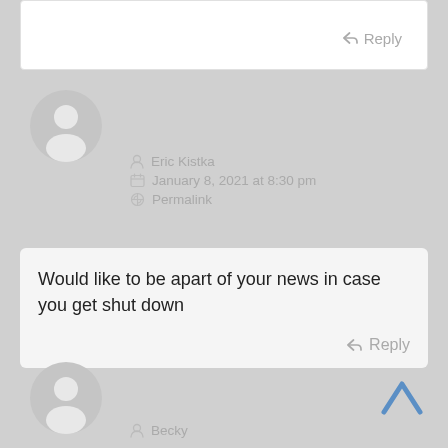Reply
[Figure (illustration): Grey avatar/user silhouette icon for Eric Kistka]
Eric Kistka
January 8, 2021 at 8:30 pm
Permalink
Would like to be apart of your news in case you get shut down
Reply
[Figure (illustration): Grey avatar/user silhouette icon for Becky]
Becky